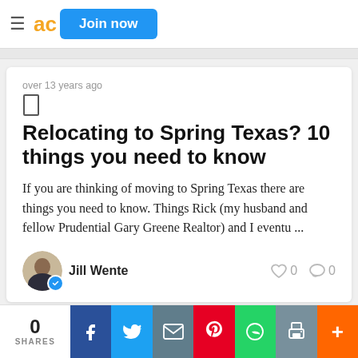ac  Join now
over 13 years ago
Relocating to Spring Texas? 10 things you need to know
If you are thinking of moving to Spring Texas there are things you need to know. Things Rick (my husband and fellow Prudential Gary Greene Realtor) and I eventu ...
Jill Wente
0  0
0 SHARES  [Facebook] [Twitter] [Email] [Pinterest] [WhatsApp] [Print] [More]